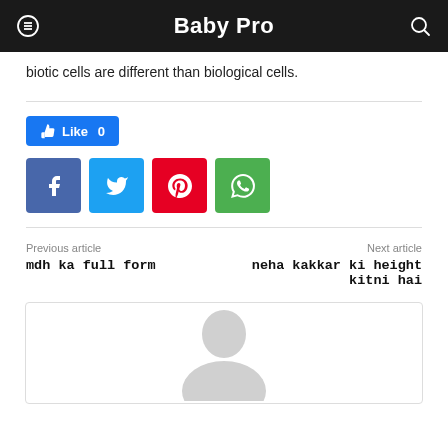Baby Pro
biotic cells are different than biological cells.
[Figure (screenshot): Social sharing buttons: Like button (Facebook), Facebook share, Twitter share, Pinterest share, WhatsApp share]
Previous article
mdh ka full form
Next article
neha kakkar ki height kitni hai
[Figure (photo): Placeholder profile image of a person silhouette]